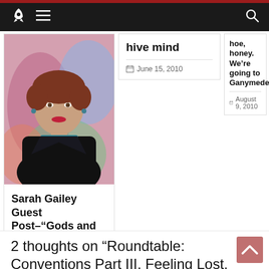Navigation bar with rocket logo, hamburger menu, and search icon
[Figure (photo): Portrait photo of Sarah Gailey, woman with short auburn hair, red lipstick, wearing dark jacket, colorful painted background]
Sarah Gailey Guest Post–“Gods and Beggars”
January 5, 2018
hive mind
June 15, 2010
hoe, honey. We're going to Ganymede.
August 9, 2010
2 thoughts on “Roundtable: Conventions Part III, Feeling Lost,